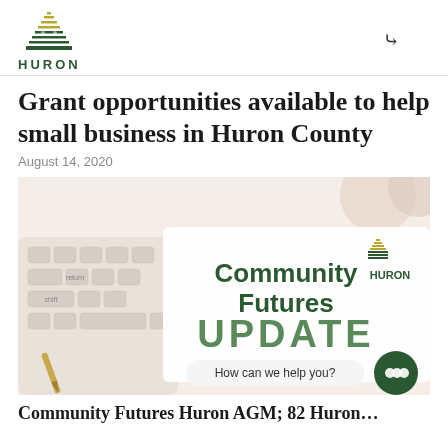HURON (logo with navigation chevron)
Grant opportunities available to help small business in Huron County
August 14, 2020
[Figure (photo): Community Futures Huron UPDATE newsletter promotional image showing a keyboard, pen, and branded Community Futures Huron update card with text 'How can we help you?']
Community Futures Huron AGM; 82 Huron